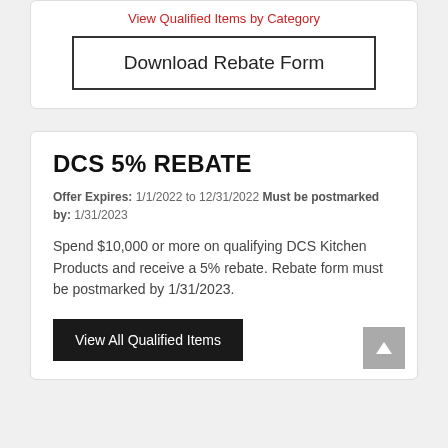View Qualified Items by Category
Download Rebate Form
DCS 5% REBATE
Offer Expires: 1/1/2022 to 12/31/2022 Must be postmarked by: 1/31/2023
Spend $10,000 or more on qualifying DCS Kitchen Products and receive a 5% rebate. Rebate form must be postmarked by 1/31/2023.
View All Qualified Items